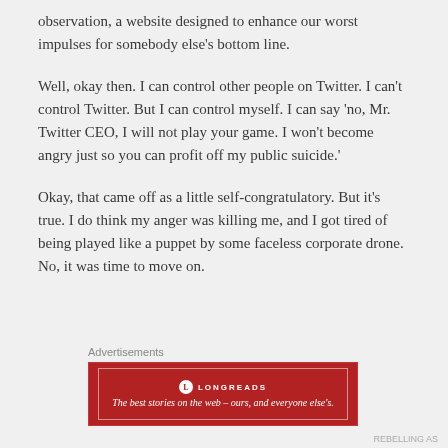observation, a website designed to enhance our worst impulses for somebody else's bottom line.
Well, okay then. I can control other people on Twitter. I can't control Twitter. But I can control myself. I can say 'no, Mr. Twitter CEO, I will not play your game. I won't become angry just so you can profit off my public suicide.'
Okay, that came off as a little self-congratulatory. But it's true. I do think my anger was killing me, and I got tired of being played like a puppet by some faceless corporate drone. No, it was time to move on.
Advertisements
[Figure (illustration): Longreads advertisement banner: red background with Longreads logo and text 'The best stories on the web – ours, and everyone else's.']